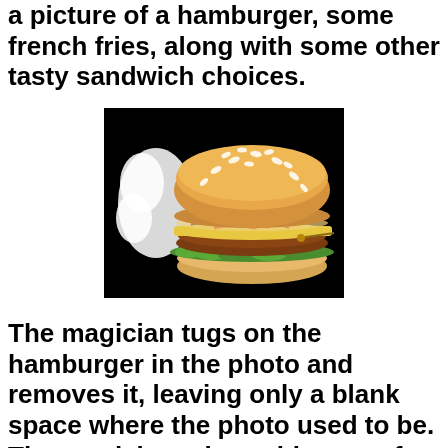a picture of a hamburger, some french fries, along with some other tasty sandwich choices.
[Figure (photo): A photograph of a hamburger with sesame seed bun, lettuce, cheese, ketchup, and patty on a black background]
The magician tugs on the hamburger in the photo and removes it, leaving only a blank space where the photo used to be. The magician takes a bite out of the hamburger, proving that it is not a dream